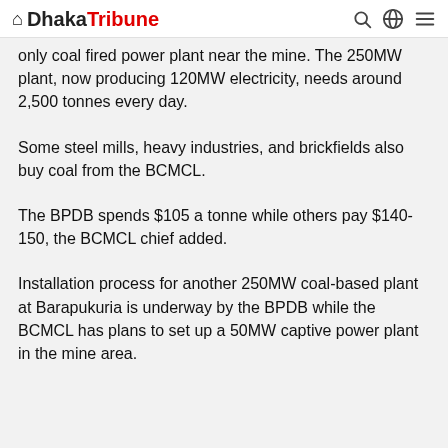Dhaka Tribune
only coal fired power plant near the mine. The 250MW plant, now producing 120MW electricity, needs around 2,500 tonnes every day.
Some steel mills, heavy industries, and brickfields also buy coal from the BCMCL.
The BPDB spends $105 a tonne while others pay $140-150, the BCMCL chief added.
Installation process for another 250MW coal-based plant at Barapukuria is underway by the BPDB while the BCMCL has plans to set up a 50MW captive power plant in the mine area.